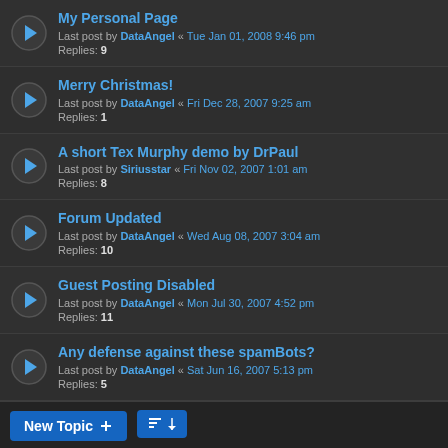My Personal Page — Last post by DataAngel « Tue Jan 01, 2008 9:46 pm — Replies: 9
Merry Christmas! — Last post by DataAngel « Fri Dec 28, 2007 9:25 am — Replies: 1
A short Tex Murphy demo by DrPaul — Last post by Siriusstar « Fri Nov 02, 2007 1:01 am — Replies: 8
Forum Updated — Last post by DataAngel « Wed Aug 08, 2007 3:04 am — Replies: 10
Guest Posting Disabled — Last post by DataAngel « Mon Jul 30, 2007 4:52 pm — Replies: 11
Any defense against these spamBots? — Last post by DataAngel « Sat Jun 16, 2007 5:13 pm — Replies: 5
New Topic | Sort | 68 topics | Page 1 2 3 >